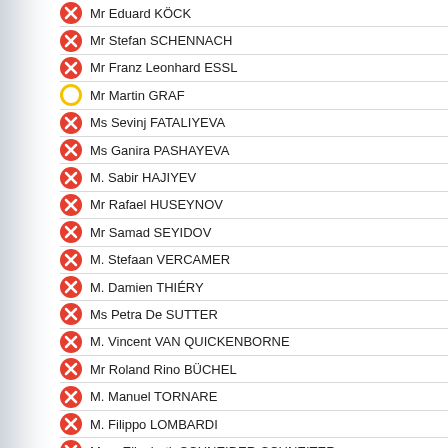Mr Eduard KÖCK
Mr Stefan SCHENNACH
Mr Franz Leonhard ESSL
Mr Martin GRAF
Ms Sevinj FATALIYEVA
Ms Ganira PASHAYEVA
M. Sabir HAJIYEV
Mr Rafael HUSEYNOV
Mr Samad SEYIDOV
M. Stefaan VERCAMER
M. Damien THIÉRY
Ms Petra De SUTTER
M. Vincent VAN QUICKENBORNE
Mr Roland Rino BÜCHEL
M. Manuel TORNARE
M. Filippo LOMBARDI
Mme Elisabeth SCHNEIDER-SCHNEITER